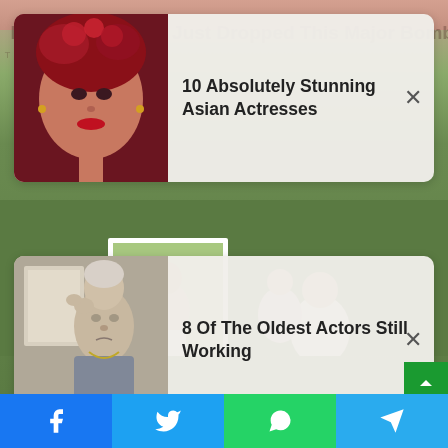[Figure (infographic): Advertisement card showing an Asian woman with red flowers in her hair. Title: '10 Absolutely Stunning Asian Actresses' with a close (X) button.]
[Figure (infographic): Advertisement card showing an older man with hand raised to head. Title: '8 Of The Oldest Actors Still Working' with a close (X) button.]
[Figure (photo): Background photo showing a family scene outdoors on grass. A man in white kneeling next to a small child, holding a framed photo of a pregnant woman.]
[Figure (infographic): Bottom share bar with four social media buttons: Facebook (blue), Twitter (light blue), WhatsApp (green), Telegram (blue).]